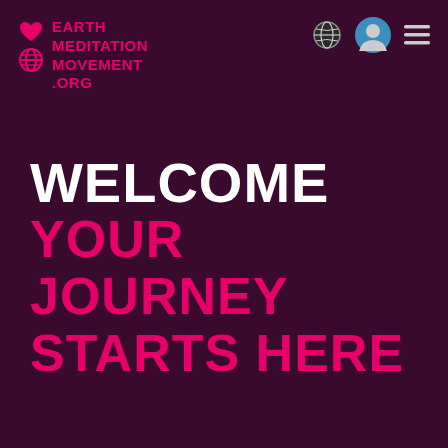[Figure (logo): Earth Meditation Movement .org logo with pink heart and globe icons on dark purple background]
WELCOME
YOUR JOURNEY STARTS HERE